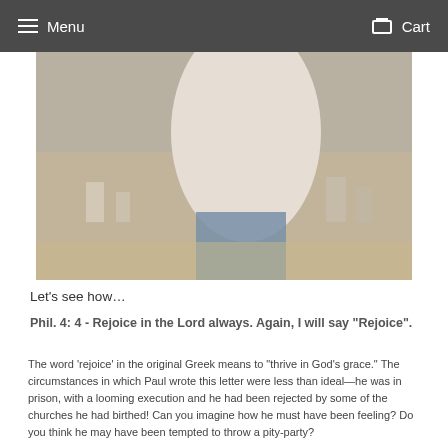Menu   Cart
[Figure (photo): Person in white shirt and jeans, outdoor blurred background]
Let’s see how…
Phil. 4: 4 - Rejoice in the Lord always. Again, I will say “Rejoice”.
The word ‘rejoice’ in the original Greek means to “thrive in God’s grace.” The circumstances in which Paul wrote this letter were less than ideal—he was in prison, with a looming execution and he had been rejected by some of the churches he had birthed! Can you imagine how he must have been feeling? Do you think he may have been tempted to throw a pity-party?